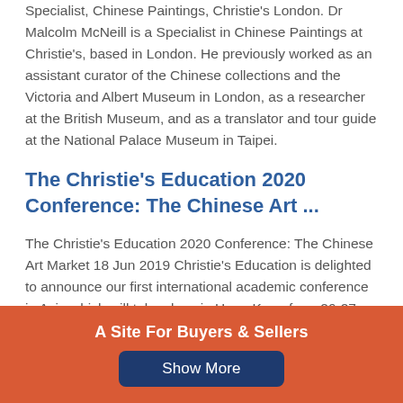Specialist, Chinese Paintings, Christie's London. Dr Malcolm McNeill is a Specialist in Chinese Paintings at Christie's, based in London. He previously worked as an assistant curator of the Chinese collections and the Victoria and Albert Museum in London, as a researcher at the British Museum, and as a translator and tour guide at the National Palace Museum in Taipei.
The Christie's Education 2020 Conference: The Chinese Art ...
The Christie's Education 2020 Conference: The Chinese Art Market 18 Jun 2019 Christie's Education is delighted to announce our first international academic conference in Asia which will take place in Hong Kong from 26-27 November 2020 at the Hong Kong Convention and Exhibition Centre and will run in collaboration with Christie's...
A Site For Buyers & Sellers
Show More